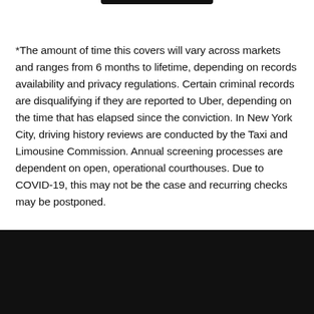*The amount of time this covers will vary across markets and ranges from 6 months to lifetime, depending on records availability and privacy regulations. Certain criminal records are disqualifying if they are reported to Uber, depending on the time that has elapsed since the conviction. In New York City, driving history reviews are conducted by the Taxi and Limousine Commission. Annual screening processes are dependent on open, operational courthouses. Due to COVID-19, this may not be the case and recurring checks may be postponed.